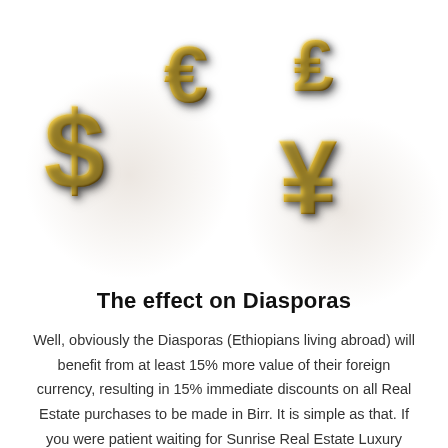[Figure (illustration): 3D golden currency symbols: dollar sign ($), euro sign (€), pound/yen-like symbol (₤), and yen sign (¥), arranged on a white background with soft circular glows behind the dollar and yen symbols.]
The effect on Diasporas
Well, obviously the Diasporas (Ethiopians living abroad) will benefit from at least 15% more value of their foreign currency, resulting in 15% immediate discounts on all Real Estate purchases to be made in Birr. It is simple as that. If you were patient waiting for Sunrise Real Estate Luxury Apartment